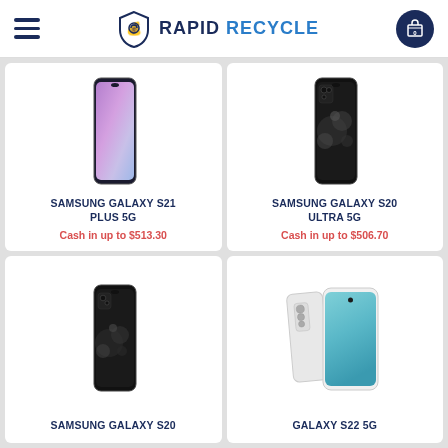RAPID RECYCLE
[Figure (photo): Samsung Galaxy S21 Plus 5G smartphone with colorful purple-pink gradient wallpaper]
SAMSUNG GALAXY S21 PLUS 5G
Cash in up to $513.30
[Figure (photo): Samsung Galaxy S20 Ultra 5G smartphone in black with camera module visible]
SAMSUNG GALAXY S20 ULTRA 5G
Cash in up to $506.70
[Figure (photo): Samsung Galaxy S20 smartphone in black with camera bubbles design]
SAMSUNG GALAXY S20
[Figure (photo): Galaxy S22 5G smartphone in white/silver shown from front and back]
GALAXY S22 5G